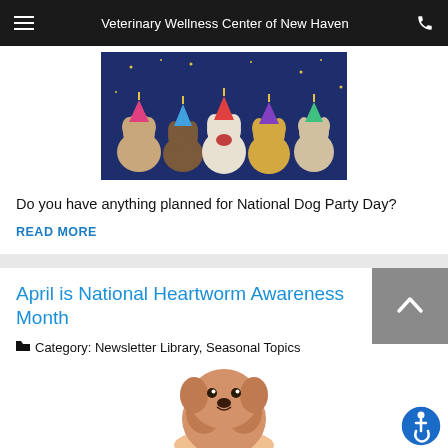Veterinary Wellness Center of New Haven
[Figure (photo): Dogs wearing party hats seated together on a dark festive background]
Do you have anything planned for National Dog Party Day?
READ MORE
April is National Heartworm Awareness Month
Category: Newsletter Library, Seasonal Topics
[Figure (photo): A fluffy golden/brown puppy being held by a person's hand against a white background]
[Figure (other): Accessibility icon - wheelchair user symbol in blue circle]